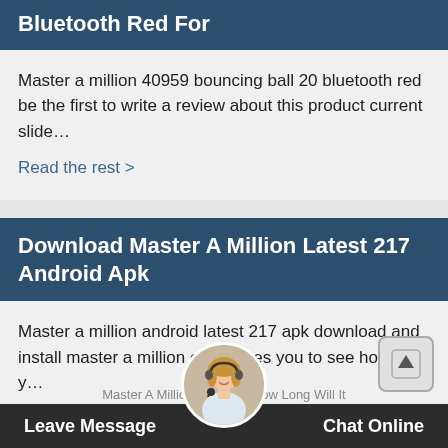Bluetooth Red For
Master a million 40959 bouncing ball 20 bluetooth red be the first to write a review about this product current slide…
Read the rest >
Download Master A Million Latest 217 Android Apk
Master a million android latest 217 apk download and install master a million challenges you to see how fast y…
Read the rest >
Leave Message   Chat Online
Master A Million Blue Ball How Long Will It